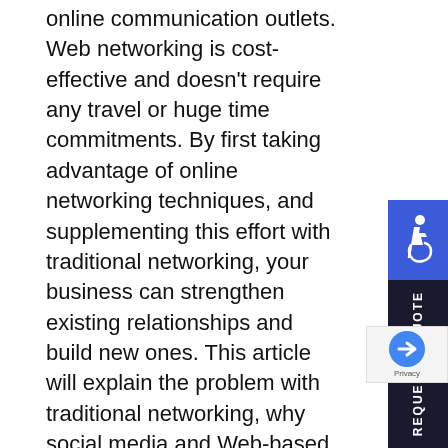online communication outlets. Web networking is cost-effective and doesn't require any travel or huge time commitments. By first taking advantage of online networking techniques, and supplementing this effort with traditional networking, your business can strengthen existing relationships and build new ones. This article will explain the problem with traditional networking, why social media and Web-based networking provides a solution, how to make the most of in-person networking, which events to attend and which you should avoid and five ways you can network and develop your business without leaving your desk.
The Problem with Traditional Networking —
often feel guilty for not attending as many business networking events and think they should be
[Figure (other): Blue accessibility wheelchair icon badge on right side]
[Figure (other): Dark sidebar with vertical text: REQUEST A QUOTE]
[Figure (other): Google privacy badge with arrow icon]